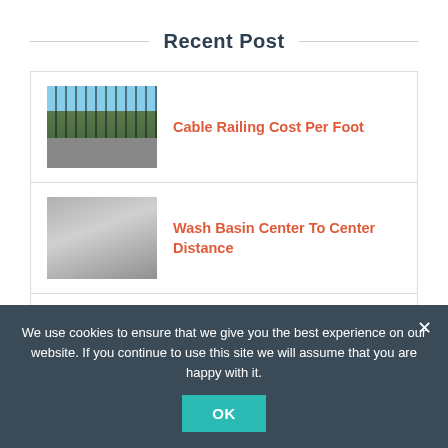Recent Post
Cable Railing Cost Per Foot
Wash Basin Center To Center Distance
Steel Handrail Manufacturers Near Me
We use cookies to ensure that we give you the best experience on our website. If you continue to use this site we will assume that you are happy with it.